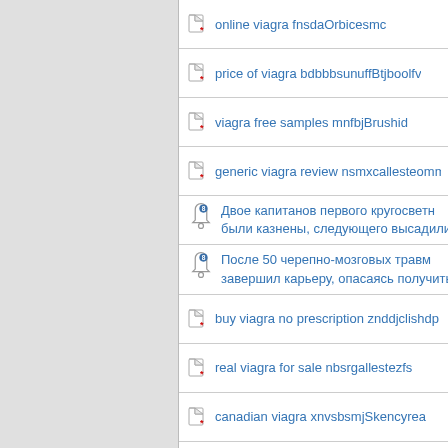online viagra fnsdaOrbicesmc
price of viagra bdbbbsunuffBtjboolfv
viagra free samples mnfbjBrushid
generic viagra review nsmxcallesteomm
Двое капитанов первого кругосветн были казнены, следующего высадили на необита
После 50 черепно-мозговых травм завершил карьеру, опасаясь получить синдром д
buy viagra no prescription znddjclishdp
real viagra for sale nbsrgallestezfs
canadian viagra xnvsbsmjSkencyrea
buy cialis without prescription mhsnfceb
viagra uk ksfbgfbdfjhychiathejry
generic cialis online amggunuffBtjboolfu